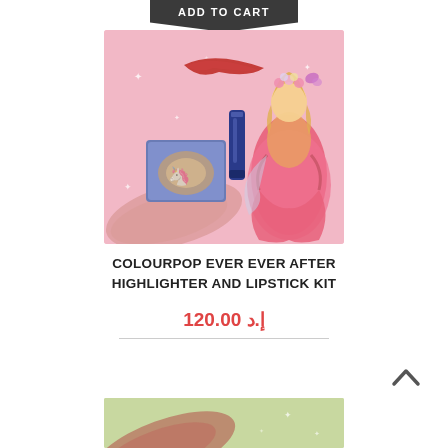[Figure (screenshot): ADD TO CART button at top, dark gray pentagonal shape pointing down]
[Figure (photo): ColourPop Ever Ever After product photo: pink background with princess illustration, highlighter compact, lip gloss, and blush swatch]
COLOURPOP EVER EVER AFTER HIGHLIGHTER AND LIPSTICK KIT
120.00 إ.د
[Figure (screenshot): ADD TO CART button, dark gray pentagonal shape pointing down]
[Figure (screenshot): Back to top arrow icon (chevron up)]
[Figure (photo): Partial product image at bottom, green/olive background with red blush swatch and sparkles]